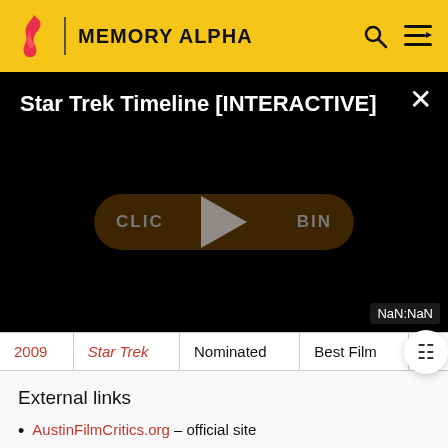MEMORY ALPHA
[Figure (screenshot): Video player overlay showing 'Star Trek Timeline [INTERACTIVE]' title on black background with a play button and 'CLICK TO BEGIN' button. NaN:NaN timestamp shown at bottom right.]
| Year | Film | Result | Award | Notes |
| --- | --- | --- | --- | --- |
| 2009 | Star Trek | Nominated | Best Film | - |
External links
AustinFilmCritics.org – official site
Austin Film Critics Association Awards at Wikipedia